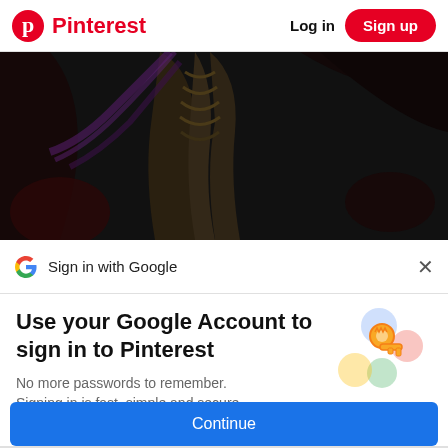Pinterest  Log in  Sign up
[Figure (illustration): Dark fantasy artwork showing skeletal or winged creature figure on black background]
Sign in with Google
Use your Google Account to sign in to Pinterest
No more passwords to remember. Signing in is fast, simple and secure.
[Figure (illustration): Google key illustration with colorful circles (blue, yellow, green, red) and a gold key]
Continue